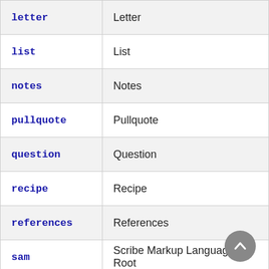| (code) | (label) |
| --- | --- |
| letter | Letter |
| list | List |
| notes | Notes |
| pullquote | Pullquote |
| question | Question |
| recipe | Recipe |
| references | References |
| sam | Scribe Markup Language Root |
| scml | Scribe Markup Language Root |